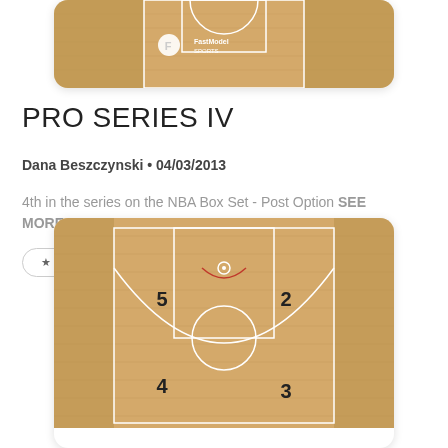[Figure (illustration): Basketball court diagram card (top partial view) showing a FastDraw basketball play diagram with a wood-grain court and white lines]
PRO SERIES IV
Dana Beszczynski • 04/03/2013
4th in the series on the NBA Box Set - Post Option SEE MORE
★ FAVORITE   ⤴ SEND TO FASTDRAW
[Figure (illustration): Basketball court diagram card showing a FastDraw play with players numbered 2, 3, 4, 5 positioned on a half-court wood-grain diagram]